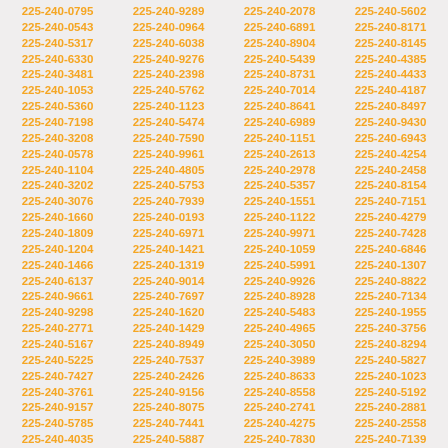225-240-0795 225-240-9289 225-240-2078 225-240-5602 225-240-0543 225-240-0964 225-240-6891 225-240-8171 225-240-5317 225-240-6038 225-240-8904 225-240-8145 225-240-6330 225-240-9276 225-240-5439 225-240-4385 225-240-3481 225-240-2398 225-240-8731 225-240-4433 225-240-1053 225-240-5762 225-240-7014 225-240-4187 225-240-5360 225-240-1123 225-240-8641 225-240-8497 225-240-7198 225-240-5474 225-240-6989 225-240-9430 225-240-3208 225-240-7590 225-240-1151 225-240-6943 225-240-0578 225-240-9961 225-240-2613 225-240-4254 225-240-1104 225-240-4805 225-240-2978 225-240-2458 225-240-3202 225-240-5753 225-240-5357 225-240-8154 225-240-3076 225-240-7939 225-240-1551 225-240-7151 225-240-1660 225-240-0193 225-240-1122 225-240-4279 225-240-1809 225-240-6971 225-240-9971 225-240-7428 225-240-1204 225-240-1421 225-240-1059 225-240-6846 225-240-1466 225-240-1319 225-240-5991 225-240-1307 225-240-6137 225-240-9014 225-240-9926 225-240-8822 225-240-9661 225-240-7697 225-240-8928 225-240-7134 225-240-9298 225-240-1620 225-240-5483 225-240-1955 225-240-2771 225-240-1429 225-240-4965 225-240-3756 225-240-5167 225-240-8949 225-240-3050 225-240-8294 225-240-5225 225-240-7537 225-240-3989 225-240-5827 225-240-7427 225-240-2426 225-240-8633 225-240-1023 225-240-3761 225-240-9156 225-240-8558 225-240-5192 225-240-9157 225-240-8075 225-240-2741 225-240-2881 225-240-5785 225-240-7441 225-240-4275 225-240-2558 225-240-4035 225-240-5887 225-240-7830 225-240-7139 225-240-7400 225-240-2768 225-240-0687 225-240-5287 225-240-2814 225-240-4616 225-240-9388 225-240-9302